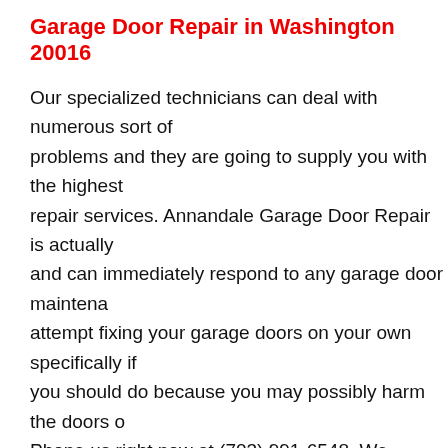Garage Door Repair in Washington 20016
Our specialized technicians can deal with numerous sort of problems and they are going to supply you with the highest repair services. Annandale Garage Door Repair is actually and can immediately respond to any garage door maintena attempt fixing your garage doors on your own specifically if you should do because you may possibly harm the doors o Phone us right now at (703) 991-6548. We provide the faste trustworthy garage door services within the whole Washington surrounding areas. Our 24x7, availability and guaranteed fa our customers their door will undoubtedly be fix in no time. Doors, Overhead Garage Door Repair, Best Garage Door S Garage Door Repair, Garage Door Repair Company, Broke Door Opener Repair Door Opener, Broken Rollers, Resider And Composite Garage Doors, Cheap Garage Door Service Electric Gates, Emergency Garage Door Repair, Garage De Overhead Door Spring Replacement Cost, Garage Door Of